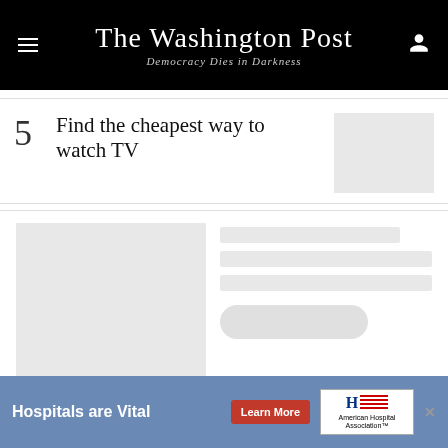The Washington Post — Democracy Dies in Darkness
5 Find the cheapest way to watch TV
[Figure (photo): Thumbnail image placeholder (gray box)]
[Figure (photo): Large content image placeholder (gray box)]
Skeleton loading bars and pill button placeholder
[Figure (other): Advertisement banner: Hospitals are Vital — Learn More — American Hospital Association]